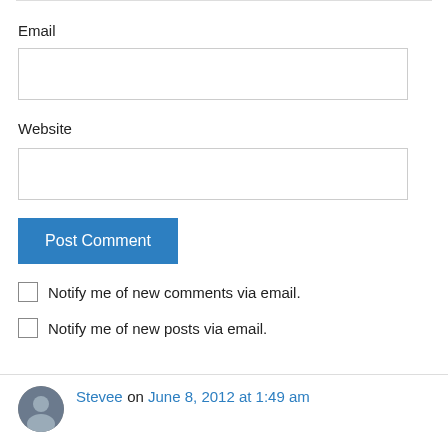Email
Website
Post Comment
Notify me of new comments via email.
Notify me of new posts via email.
Stevee on June 8, 2012 at 1:49 am